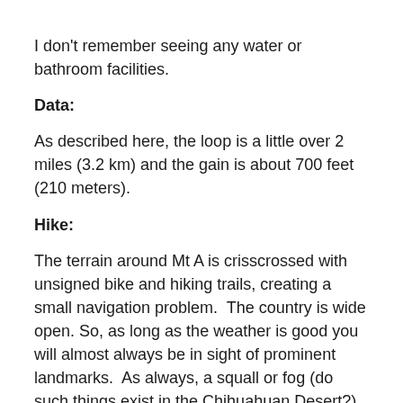I don't remember seeing any water or bathroom facilities.
Data:
As described here, the loop is a little over 2 miles (3.2 km) and the gain is about 700 feet (210 meters).
Hike:
The terrain around Mt A is crisscrossed with unsigned bike and hiking trails, creating a small navigation problem.  The country is wide open. So, as long as the weather is good you will almost always be in sight of prominent landmarks.  As always, a squall or fog (do such things exist in the Chihuahuan Desert?) or dust-storm could make navigation